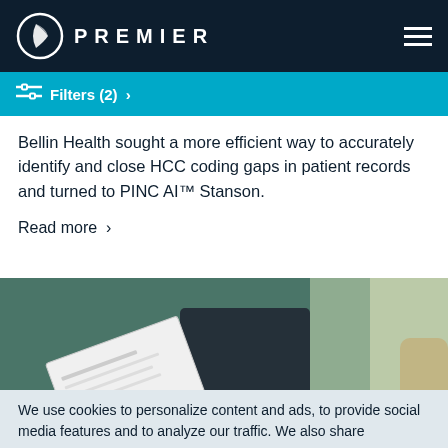PREMIER
Filters (2) >
Bellin Health sought a more efficient way to accurately identify and close HCC coding gaps in patient records and turned to PINC AI™ Stanson.
Read more >
[Figure (photo): Person holding a document/paper form, with a laptop in the background, in an office environment]
We use cookies to personalize content and ads, to provide social media features and to analyze our traffic. We also share